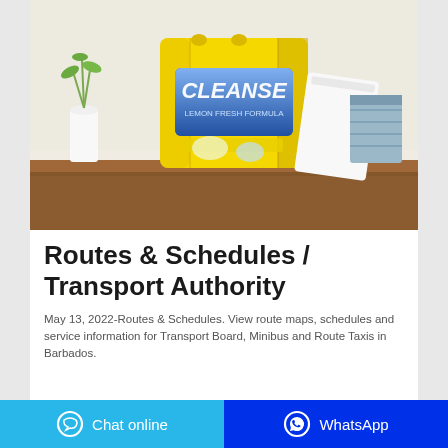[Figure (photo): A yellow laundry detergent bag sitting on a wooden table, with a white towel/cloth draped to the right, a white vase with a plant on the left, and a blue basket in the background. Light-colored wall in the background.]
Routes & Schedules / Transport Authority
May 13, 2022-Routes & Schedules. View route maps, schedules and service information for Transport Board, Minibus and Route Taxis in Barbados.